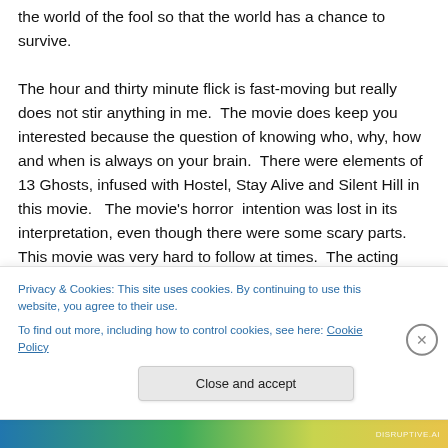the world of the fool so that the world has a chance to survive.

The hour and thirty minute flick is fast-moving but really does not stir anything in me.  The movie does keep you interested because the question of knowing who, why, how and when is always on your brain.  There were elements of 13 Ghosts, infused with Hostel, Stay Alive and Silent Hill in this movie.   The movie's horror  intention was lost in its interpretation, even though there were some scary parts.  This movie was very hard to follow at times.  The acting
Privacy & Cookies: This site uses cookies. By continuing to use this website, you agree to their use.
To find out more, including how to control cookies, see here: Cookie Policy
Close and accept